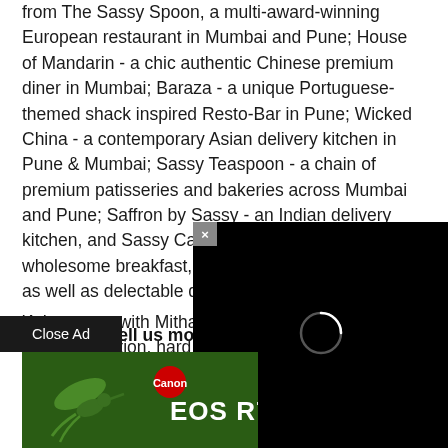from The Sassy Spoon, a multi-award-winning European restaurant in Mumbai and Pune; House of Mandarin - a chic authentic Chinese premium diner in Mumbai; Baraza - a unique Portuguese-themed shack inspired Resto-Bar in Pune; Wicked China - a contemporary Asian delivery kitchen in Pune & Mumbai; Sassy Teaspoon - a chain of premium patisseries and bakeries across Mumbai and Pune; Saffron by Sassy - an Indian delivery kitchen, and Sassy Cafe - th perfect place for a wholesome breakfast, healthy and delicious meals as well as delectable desserts in BKC Mumbai.
Could you tell us more about your book, 'Adventures with Mithai'?
'Adventures with Mithai' is a la... experimentation, hard work, a... inspiration behind these 50 re...
[Figure (screenshot): Video player overlay (black background with loading spinner) and Canon EOS R7 advertisement banner with hummingbird, overlaid on article text. Close Ad button visible.]